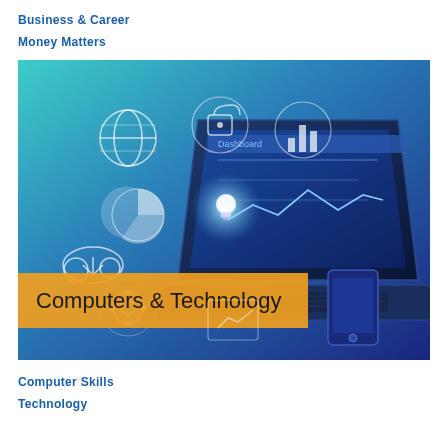Business & Career
Money Matters
[Figure (illustration): Technology illustration showing a laptop with floating digital icons (globe, lock, pie chart, gear, cloud, chart, mobile phone) on a blue-to-teal gradient background. An orange/yellow banner overlay at the bottom left reads 'Computers & Technology'.]
Computer Skills
Technology